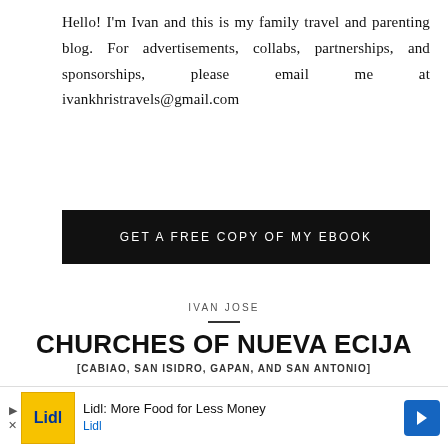Hello! I'm Ivan and this is my family travel and parenting blog. For advertisements, collabs, partnerships, and sponsorships, please email me at ivankhristravels@gmail.com
GET A FREE COPY OF MY EBOOK
IVAN JOSE
CHURCHES OF NUEVA ECIJA
[CABIAO, SAN ISIDRO, GAPAN, AND SAN ANTONIO]
[Figure (screenshot): Partial ebook cover preview showing Life-Weekends ivankhristravels.com text]
Lidl: More Food for Less Money Lidl